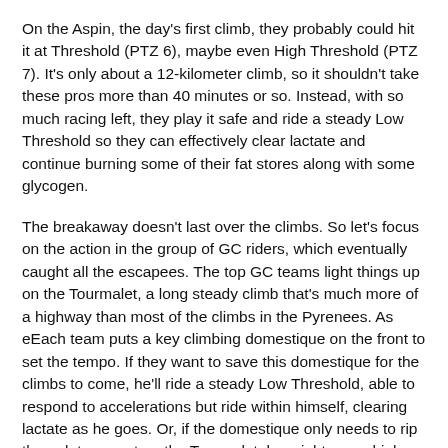On the Aspin, the day's first climb, they probably could hit it at Threshold (PTZ 6), maybe even High Threshold (PTZ 7). It's only about a 12-kilometer climb, so it shouldn't take these pros more than 40 minutes or so. Instead, with so much racing left, they play it safe and ride a steady Low Threshold so they can effectively clear lactate and continue burning some of their fat stores along with some glycogen.
The breakaway doesn't last over the climbs. So let's focus on the action in the group of GC riders, which eventually caught all the escapees. The top GC teams light things up on the Tourmalet, a long steady climb that's much more of a highway than most of the climbs in the Pyrenees. As eEach team puts a key climbing domestique on the front to set the tempo. If they want to save this domestique for the climbs to come, he'll ride a steady Low Threshold, able to respond to accelerations but ride within himself, clearing lactate as he goes. Or, if the domestique only needs to rip the peloton apart on the Tourmalet, he might go as high as PTZ 6 or 7.